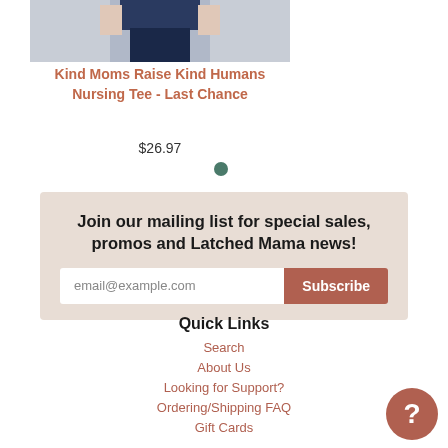[Figure (photo): Product image of a person wearing a navy nursing tee, cropped to show torso]
Kind Moms Raise Kind Humans Nursing Tee - Last Chance
$26.97
[Figure (other): Teal circular dot pagination indicator]
Join our mailing list for special sales, promos and Latched Mama news!
email@example.com
Subscribe
Quick Links
Search
About Us
Looking for Support?
Ordering/Shipping FAQ
Gift Cards
[Figure (other): Terracotta/brown circular help button with question mark icon]